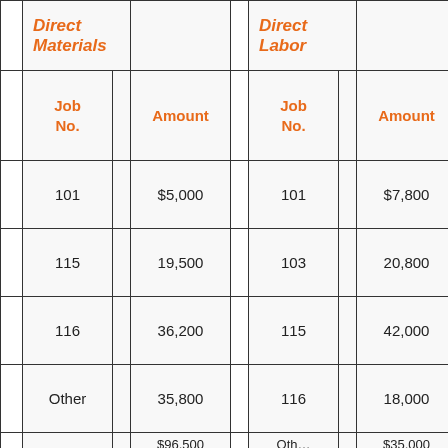| Job No. | Amount | Job No. | Amount |
| --- | --- | --- | --- |
| 101 | $5,000 | 101 | $7,800 |
| 115 | 19,500 | 103 | 20,800 |
| 116 | 36,200 | 115 | 42,000 |
| Other | 35,800 | 116 | 18,000 |
|  | $96,500 | Oth… | $35,000… |